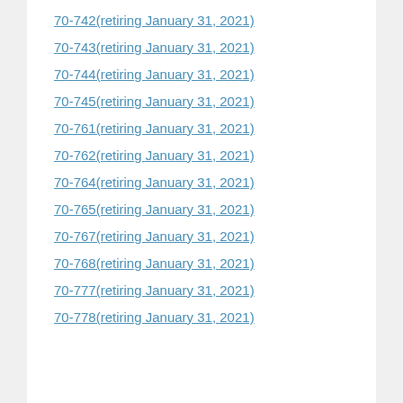70-742(retiring January 31, 2021)
70-743(retiring January 31, 2021)
70-744(retiring January 31, 2021)
70-745(retiring January 31, 2021)
70-761(retiring January 31, 2021)
70-762(retiring January 31, 2021)
70-764(retiring January 31, 2021)
70-765(retiring January 31, 2021)
70-767(retiring January 31, 2021)
70-768(retiring January 31, 2021)
70-777(retiring January 31, 2021)
70-778(retiring January 31, 2021)